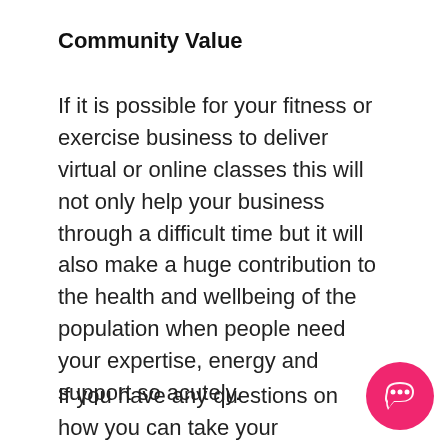Community Value
If it is possible for your fitness or exercise business to deliver virtual or online classes this will not only help your business through a difficult time but it will also make a huge contribution to the health and wellbeing of the population when people need your expertise, energy and support so acutely.
If you have any questions on how you can take your classes online our
[Figure (illustration): Pink circular chat/messenger button icon in bottom right corner]